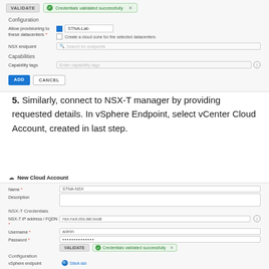[Figure (screenshot): vCenter Cloud Account form - Configuration section showing Allow provisioning to these datacenters (STNA-Lab checked), Create a cloud zone checkbox (unchecked), NSX endpoint search field, Capabilities/Capability tags field, and ADD/CANCEL buttons]
5. Similarly, connect to NSX-T manager by providing requested details. In vSphere Endpoint, select vCenter Cloud Account, created in last step.
[Figure (screenshot): New Cloud Account form showing Name (STNA-NSX), Description field, NSX-T Credentials section with NSX-T IP address/FQDN (nsx.root.cbs.lab.local), Username (admin), Password (hidden), Validate button with 'Credentials validated successfully' badge, and Configuration section showing vSphere endpoint (SiteA-lab)]